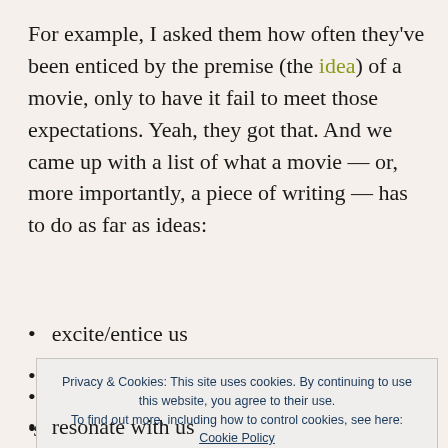For example, I asked them how often they've been enticed by the premise (the idea) of a movie, only to have it fail to meet those expectations. Yeah, they got that. And we came up with a list of what a movie — or, more importantly, a piece of writing — has to do as far as ideas:
excite/entice us
give us something/someone to care about
(partially obscured)
(partially obscured) s
resonate with us
Privacy & Cookies: This site uses cookies. By continuing to use this website, you agree to their use. To find out more, including how to control cookies, see here: Cookie Policy